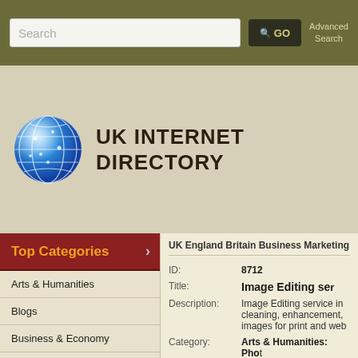Search | GO | Advanced Search
UK INTERNET DIRECTORY
Top Categories
Arts & Humanities
Blogs
Business & Economy
Computers & Internet
Education
Entertainment
Health
UK England Britain Business Marketing
| Field | Value |
| --- | --- |
| ID: | 8712 |
| Title: | Image Editing ser |
| Description: | Image Editing service in cleaning, enhancement, images for print and web |
| Category: | Arts & Humanities: Phot |
| Link Owner: | kimberly |
| Advertisement: |  |
| Date Added: | June 09, 2010 03:54:25 |
| Number Hits: | 18 |